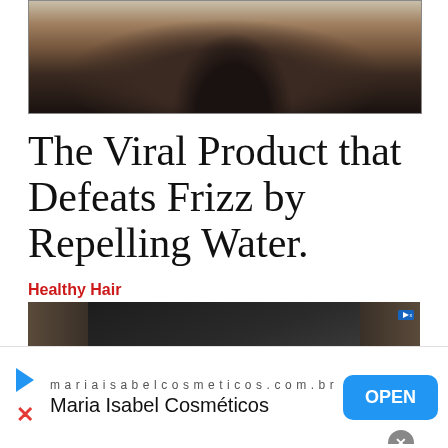[Figure (photo): Close-up photo of back of person's head with straight dark hair against light background]
The Viral Product that Defeats Frizz by Repelling Water.
Healthy Hair
[Figure (photo): Advertisement banner showing a car in the rain with dark moody lighting]
mariaisabelcosmeticos.com.br
Maria Isabel Cosméticos
OPEN